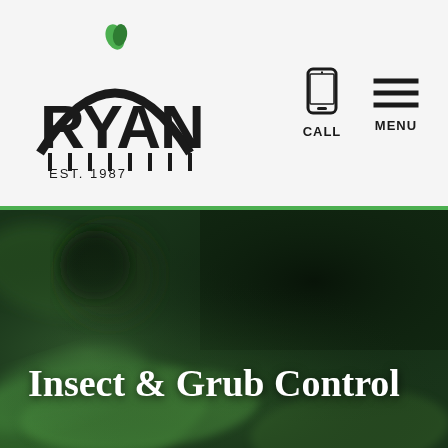Ryan Lawn & Tree — EST. 1987 — CALL | MENU
[Figure (photo): Dark blurred macro photo of green leaves forming a hero banner background]
Insect & Grub Control